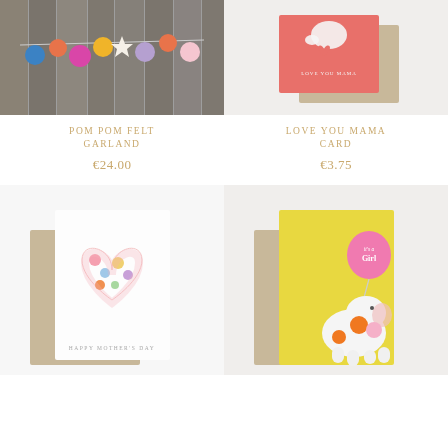[Figure (photo): Colorful pom pom felt garland with multicolored felt balls on a wire, hanging on a wooden background]
[Figure (photo): Love You Mama greeting card in coral/pink with elephant design, shown with kraft envelope]
POM POM FELT GARLAND
€24.00
LOVE YOU MAMA CARD
€3.75
[Figure (photo): Happy Mother's Day greeting card with floral heart design, shown with kraft envelope on white background]
[Figure (photo): It's a Girl greeting card with yellow background, white elephant holding balloons, shown with kraft envelope]